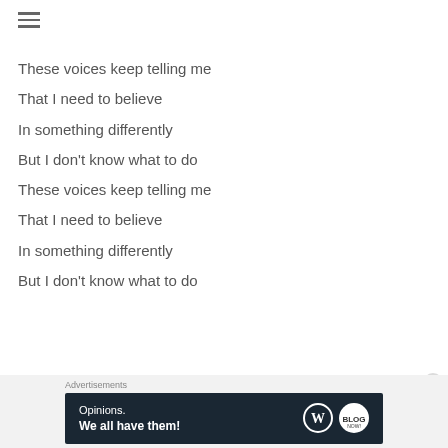These voices keep telling me
That I need to believe
In something differently
But I don't know what to do
These voices keep telling me
That I need to believe
In something differently
But I don't know what to do
Advertisements — Opinions. We all have them!